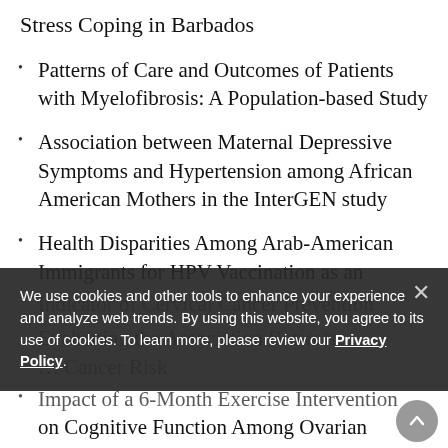Stress Coping in Barbados
Patterns of Care and Outcomes of Patients with Myelofibrosis: A Population-based Study
Association between Maternal Depressive Symptoms and Hypertension among African American Mothers in the InterGEN study
Health Disparities Among Arab-American Immigrants for HPV Vaccination as an Indicator of Cervical Cancer Prevention
Evaluating the Association Between … Cancer Risk
Impact of a 6-Month Exercise Intervention on Cognitive Function Among Ovarian…
We use cookies and other tools to enhance your experience and analyze web trends. By using this website, you agree to its use of cookies. To learn more, please review our Privacy Policy.